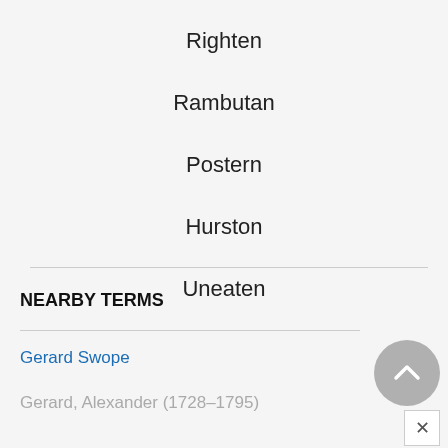Righten
Rambutan
Postern
Hurston
Uneaten
NEARBY TERMS
Gerard Swope
Gerard, Alexander (1728–1795)